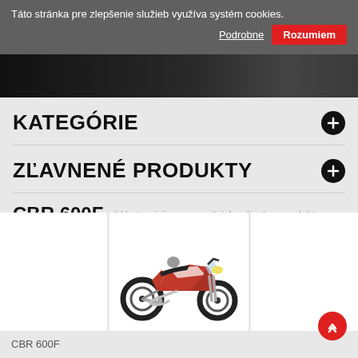Táto stránka pre zlepšenie služieb využíva systém cookies.
Podrobne
Rozumiem
[Figure (photo): Dark motorcycle website header banner]
KATEGÓRIE
ZĽAVNENÉ PRODUKTY
CBR 600F
V kategórii sa nenachádza žiadny produkt.
[Figure (photo): Red Honda CBR 600F sportbike motorcycle product image]
CBR 600F